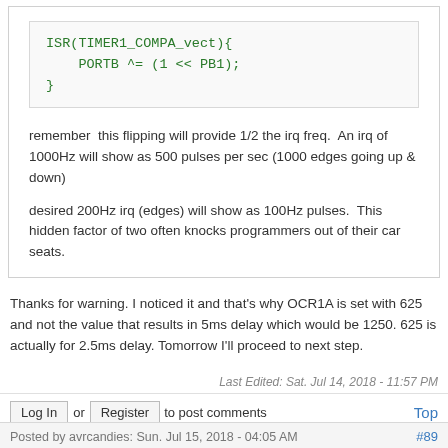[Figure (screenshot): Code block showing ISR(TIMER1_COMPA_vect){ PORTB ^= (1 << PB1); }]
remember  this flipping will provide 1/2 the irq freq.  An irq of 1000Hz will show as 500 pulses per sec (1000 edges going up & down)
desired 200Hz irq (edges) will show as 100Hz pulses.  This hidden factor of two often knocks programmers out of their car seats.
Thanks for warning. I noticed it and that's why OCR1A is set with 625 and not the value that results in 5ms delay which would be 1250. 625 is actually for 2.5ms delay. Tomorrow I'll proceed to next step.
Last Edited: Sat. Jul 14, 2018 - 11:57 PM
Log In or Register to post comments
Posted by avrcandies: Sun. Jul 15, 2018 - 04:05 AM  #89